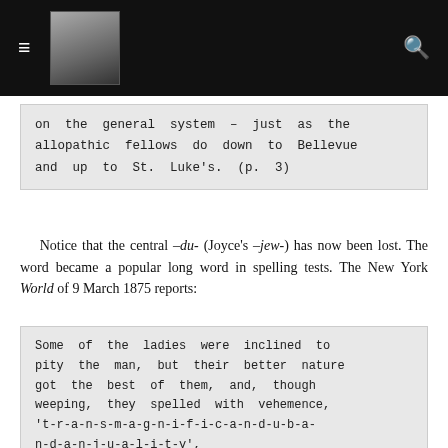[hamburger menu] [portrait photo] [search icon]
on the general system – just as the allopathic fellows do down to Bellevue and up to St. Luke's. (p. 3)
Notice that the central –du- (Joyce's –jew-) has now been lost. The word became a popular long word in spelling tests. The New York World of 9 March 1875 reports:
Some of the ladies were inclined to pity the man, but their better nature got the best of them, and, though weeping, they spelled with vehemence, 't-r-a-n-s-m-a-g-n-i-f-i-c-a-n-d-u-b-a-n-d-a-n-j-u-a-l-i-t-y', transmagnificandubandanjuality – for this word they had treasured up in